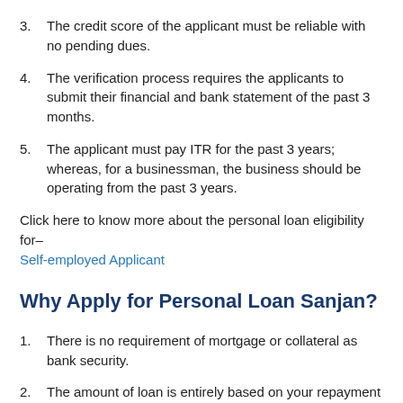3. The credit score of the applicant must be reliable with no pending dues.
4. The verification process requires the applicants to submit their financial and bank statement of the past 3 months.
5. The applicant must pay ITR for the past 3 years; whereas, for a businessman, the business should be operating from the past 3 years.
Click here to know more about the personal loan eligibility for–
Self-employed Applicant
Why Apply for Personal Loan Sanjan?
1. There is no requirement of mortgage or collateral as bank security.
2. The amount of loan is entirely based on your repayment capacity.
3. This type of loan does not require any nominee or guarantor.